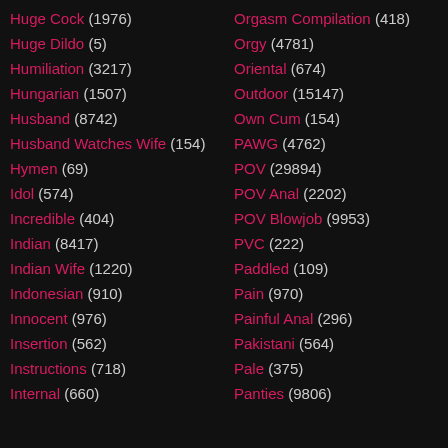Huge Cock (1976)
Huge Dildo (5)
Humiliation (3217)
Hungarian (1507)
Husband (8742)
Husband Watches Wife (154)
Hymen (69)
Idol (574)
Incredible (404)
Indian (8417)
Indian Wife (1220)
Indonesian (910)
Innocent (976)
Insertion (562)
Instructions (718)
Internal (660)
Orgasm Compilation (418)
Orgy (4781)
Oriental (674)
Outdoor (15147)
Own Cum (154)
PAWG (4762)
POV (29894)
POV Anal (2202)
POV Blowjob (9953)
PVC (222)
Paddled (109)
Pain (970)
Painful Anal (296)
Pakistani (564)
Pale (375)
Panties (9806)